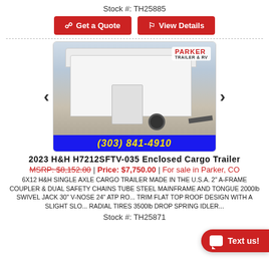Stock #: TH25885
Get a Quote | View Details
[Figure (photo): White enclosed cargo trailer photo with Parker Trailer & RV logo and phone number (303) 841-4910 on blue bar]
2023 H&H H7212SFTV-035 Enclosed Cargo Trailer
MSRP: $8,152.80 | Price: $7,750.00 | For sale in Parker, CO
6X12 H&H SINGLE AXLE CARGO TRAILER MADE IN THE U.S.A. 2" A-FRAME COUPLER & DUAL SAFETY CHAINS TUBE STEEL MAINFRAME AND TONGUE 2000lb SWIVEL JACK 30" V-NOSE 24" ATP RO... TRIM FLAT TOP ROOF DESIGN WITH A SLIGHT SLO... RADIAL TIRES 3500lb DROP SPRING IDLER...
Stock #: TH25871